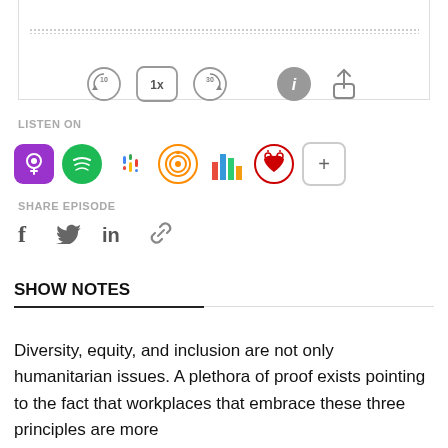[Figure (screenshot): Podcast audio player with waveform visualization, skip back 10s button, 1x speed button, skip forward 30s button, info button, and share button]
LISTEN ON
[Figure (infographic): Row of podcast platform icons: Apple Podcasts, Spotify, Google Podcasts, Overcast, a bar chart icon, iHeart Radio, and a plus button for more]
SHARE EPISODE
[Figure (infographic): Row of social share icons: Facebook (f), Twitter (bird), LinkedIn (in), and link/chain icon]
SHOW NOTES
Diversity, equity, and inclusion are not only humanitarian issues. A plethora of proof exists pointing to the fact that workplaces that embrace these three principles are more